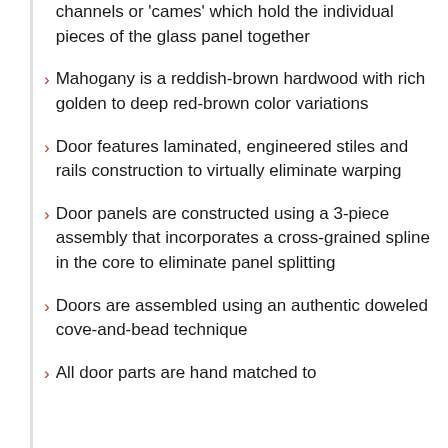channels or 'cames' which hold the individual pieces of the glass panel together
Mahogany is a reddish-brown hardwood with rich golden to deep red-brown color variations
Door features laminated, engineered stiles and rails construction to virtually eliminate warping
Door panels are constructed using a 3-piece assembly that incorporates a cross-grained spline in the core to eliminate panel splitting
Doors are assembled using an authentic doweled cove-and-bead technique
All door parts are hand matched to